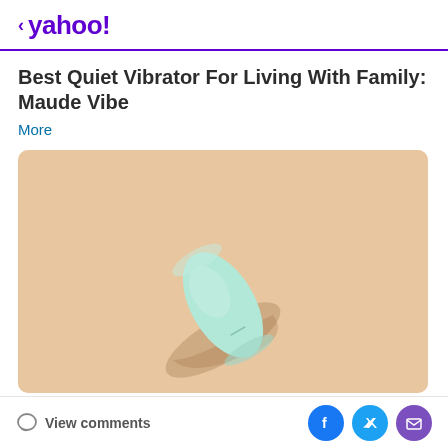< yahoo!
Best Quiet Vibrator For Living With Family: Maude Vibe
More
[Figure (photo): A mint/light teal colored smooth pebble-shaped vibrator (Maude Vibe) lying on a warm beige background, casting a shadow to the left.]
View comments